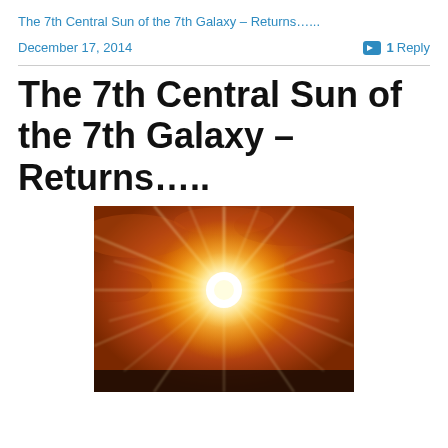The 7th Central Sun of the 7th Galaxy – Returns…...
December 17, 2014
1 Reply
The 7th Central Sun of the 7th Galaxy – Returns…..
[Figure (photo): A dramatic photo of a bright sun burst with golden rays radiating outward from a brilliant white center, set against an orange and red cloudy sky with dark landscape at the bottom.]